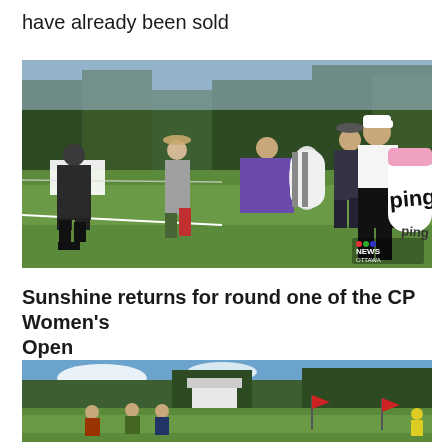have already been sold
[Figure (photo): Golf players walking on a green fairway carrying PING golf bags, with trees in the background and a CTV News Ottawa watermark in the bottom right corner.]
Sunshine returns for round one of the CP Women's Open
[Figure (photo): A golf course scene with players and spectators on a green fairway with trees in the background and red flags visible, under blue sky.]